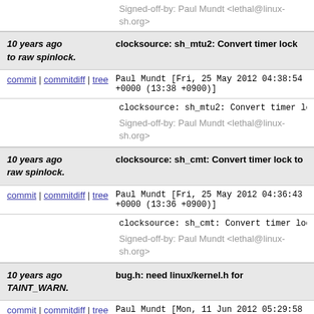Signed-off-by: Paul Mundt <lethal@linux-sh.org>
10 years ago  clocksource: sh_mtu2: Convert timer lock to raw spinlock.
commit | commitdiff | tree   Paul Mundt [Fri, 25 May 2012 04:38:54 +0000 (13:38 +0900)]
clocksource: sh_mtu2: Convert timer lock to raw s
Signed-off-by: Paul Mundt <lethal@linux-sh.org>
10 years ago  clocksource: sh_cmt: Convert timer lock to raw spinlock.
commit | commitdiff | tree   Paul Mundt [Fri, 25 May 2012 04:36:43 +0000 (13:36 +0900)]
clocksource: sh_cmt: Convert timer lock to raw sp
Signed-off-by: Paul Mundt <lethal@linux-sh.org>
10 years ago  bug.h: need linux/kernel.h for TAINT_WARN.
commit | commitdiff | tree   Paul Mundt [Mon, 11 Jun 2012 05:29:58 +0000 (14:29 +0900)]